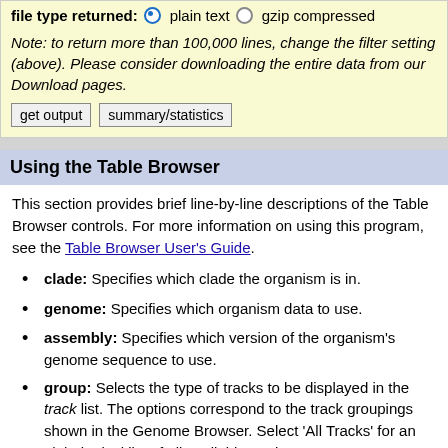file type returned: ● plain text ○ gzip compressed
Note: to return more than 100,000 lines, change the filter setting (above). Please consider downloading the entire data from our Download pages.
get output   summary/statistics
Using the Table Browser
This section provides brief line-by-line descriptions of the Table Browser controls. For more information on using this program, see the Table Browser User's Guide.
clade: Specifies which clade the organism is in.
genome: Specifies which organism data to use.
assembly: Specifies which version of the organism's genome sequence to use.
group: Selects the type of tracks to be displayed in the track list. The options correspond to the track groupings shown in the Genome Browser. Select 'All Tracks' for an alphabetical list of all available tracks